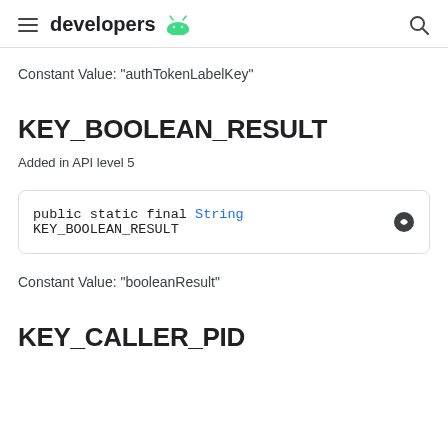developers [android logo]
Constant Value: "authTokenLabelKey"
KEY_BOOLEAN_RESULT
Added in API level 5
public static final String KEY_BOOLEAN_RESULT
Constant Value: "booleanResult"
KEY_CALLER_PID